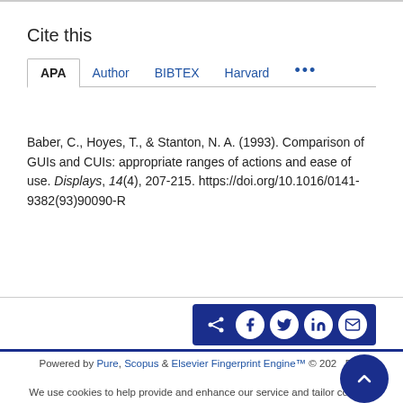Cite this
APA | Author | BIBTEX | Harvard | ...
Baber, C., Hoyes, T., & Stanton, N. A. (1993). Comparison of GUIs and CUIs: appropriate ranges of actions and ease of use. Displays, 14(4), 207-215. https://doi.org/10.1016/0141-9382(93)90090-R
Powered by Pure, Scopus & Elsevier Fingerprint Engine™ © 202 B.V.
We use cookies to help provide and enhance our service and tailor content.